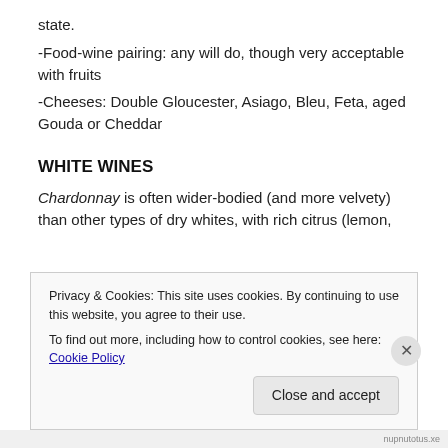state.
-Food-wine pairing: any will do, though very acceptable with fruits
-Cheeses: Double Gloucester, Asiago, Bleu, Feta, aged Gouda or Cheddar
WHITE WINES
Chardonnay is often wider-bodied (and more velvety) than other types of dry whites, with rich citrus (lemon,
Privacy & Cookies: This site uses cookies. By continuing to use this website, you agree to their use.
To find out more, including how to control cookies, see here: Cookie Policy